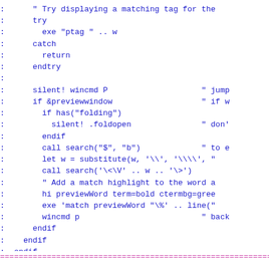:      " Try displaying a matching tag for the
:      try
:        exe "ptag " .. w
:      catch
:        return
:      endtry
:
:      silent! wincmd P                    " jump
:      if &previewwindow                   " if w
:        if has("folding")
:          silent! .foldopen               " don'
:        endif
:        call search("$", "b")             " to e
:        let w = substitute(w, '\\', '\\\\', "
:        call search('\<\V' .. w .. '\>')
:        " Add a match highlight to the word a
:        hi previewWord term=bold ctermbg=gree
:        exe 'match previewWord "\%' .. line("
:        wincmd p                          " back
:      endif
:    endif
:  endif
:endfun
================================================================